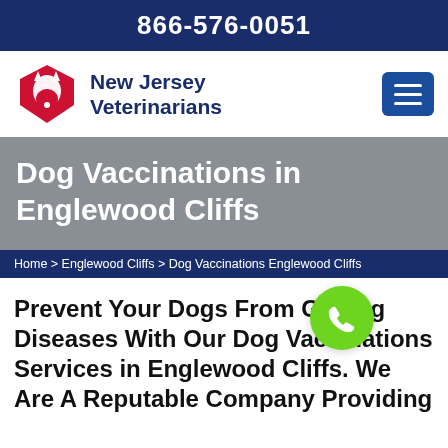866-576-0051
[Figure (logo): New Jersey Veterinarians logo with red and white dog/cat silhouette shield icon and blue text reading New Jersey Veterinarians]
Dog Vaccinations in Englewood Cliffs
Home > Englewood Cliffs > Dog Vaccinations Englewood Cliffs
Prevent Your Dogs From Getting Diseases With Our Dog Vaccinations Services in Englewood Cliffs. We Are A Reputable Company Providing